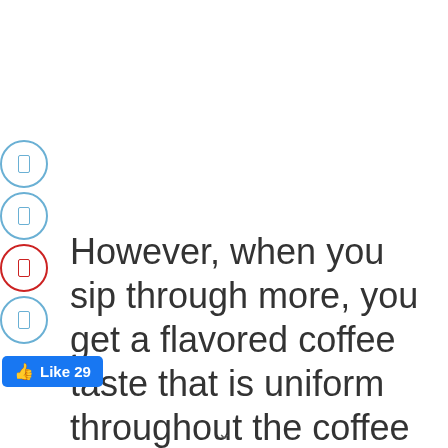[Figure (other): Four circular icon buttons with light blue borders arranged vertically on the left side; the third circle has a red border. Each circle contains a small rectangle icon.]
However, when you sip through more, you get a flavored coffee taste that is uniform throughout the coffee till the end.
[Figure (other): Facebook Like button showing 'Like 29' in blue with thumbs up icon.]